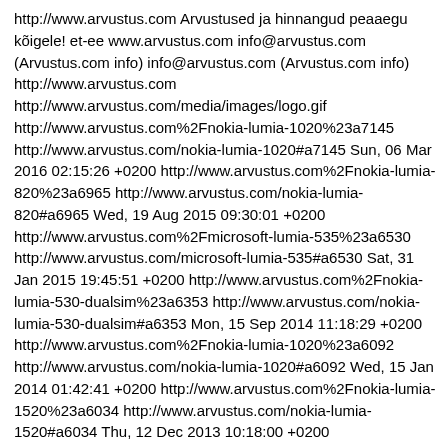http://www.arvustus.com Arvustused ja hinnangud peaaegu kõigele! et-ee www.arvustus.com info@arvustus.com (Arvustus.com info) info@arvustus.com (Arvustus.com info) http://www.arvustus.com http://www.arvustus.com/media/images/logo.gif http://www.arvustus.com%2Fnokia-lumia-1020%23a7145 http://www.arvustus.com/nokia-lumia-1020#a7145 Sun, 06 Mar 2016 02:15:26 +0200 http://www.arvustus.com%2Fnokia-lumia-820%23a6965 http://www.arvustus.com/nokia-lumia-820#a6965 Wed, 19 Aug 2015 09:30:01 +0200 http://www.arvustus.com%2Fmicrosoft-lumia-535%23a6530 http://www.arvustus.com/microsoft-lumia-535#a6530 Sat, 31 Jan 2015 19:45:51 +0200 http://www.arvustus.com%2Fnokia-lumia-530-dualsim%23a6353 http://www.arvustus.com/nokia-lumia-530-dualsim#a6353 Mon, 15 Sep 2014 11:18:29 +0200 http://www.arvustus.com%2Fnokia-lumia-1020%23a6092 http://www.arvustus.com/nokia-lumia-1020#a6092 Wed, 15 Jan 2014 01:42:41 +0200 http://www.arvustus.com%2Fnokia-lumia-1520%23a6034 http://www.arvustus.com/nokia-lumia-1520#a6034 Thu, 12 Dec 2013 10:18:00 +0200 http://www.arvustus.com%2Fnokia-lumia-1020%23a5896 http://www.arvustus.com/nokia-lumia-1020#a5896 Wed, 09 Oct 2013 09:59:36 +0200 http://www.arvustus.com%2Fnokia-lumia-925%23a5848 http://www.arvustus.com/nokia-lumia-925#a5848 Thu, 12 Sep 2013 18:49:12 +0200